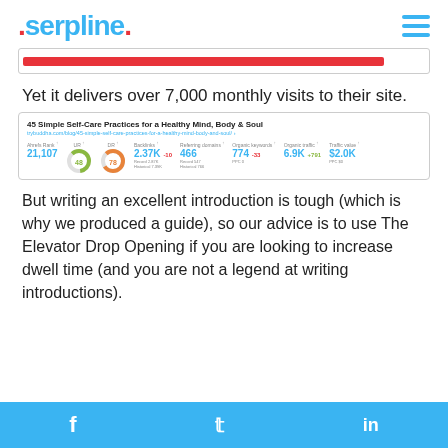serpline.
[Figure (screenshot): Partial screenshot showing a red progress bar or UI element]
Yet it delivers over 7,000 monthly visits to their site.
[Figure (screenshot): Screenshot of an SEO metrics card for '45 Simple Self-Care Practices for a Healthy Mind, Body & Soul' showing Ahrefs Rank: 21,107, UR: 48, DR: 78, Backlinks: 2.37K -10, Referring domains: 466, Organic keywords: 774 -33, Organic traffic: 6.9K +791, Traffic value: $2.0K]
But writing an excellent introduction is tough (which is why we produced a guide), so our advice is to use The Elevator Drop Opening if you are looking to increase dwell time (and you are not a legend at writing introductions).
f  Twitter  in